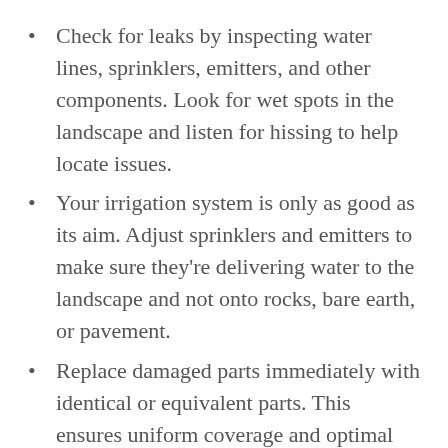Check for leaks by inspecting water lines, sprinklers, emitters, and other components. Look for wet spots in the landscape and listen for hissing to help locate issues.
Your irrigation system is only as good as its aim. Adjust sprinklers and emitters to make sure they're delivering water to the landscape and not onto rocks, bare earth, or pavement.
Replace damaged parts immediately with identical or equivalent parts. This ensures uniform coverage and optimal system efficiency.
Locate and clean any clogged equipment.
Use water meter and historical data to help reveal hidden leaks.
Check to make sure irrigation controller is